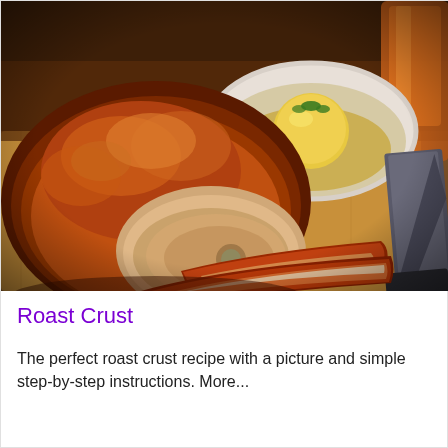[Figure (photo): A roasted meat (pork roast) partially sliced on a wooden cutting board, with a white bowl containing a yellow potato dumpling in broth, a knife, and a glass of orange beverage in the background.]
Roast Crust
The perfect roast crust recipe with a picture and simple step-by-step instructions. More...